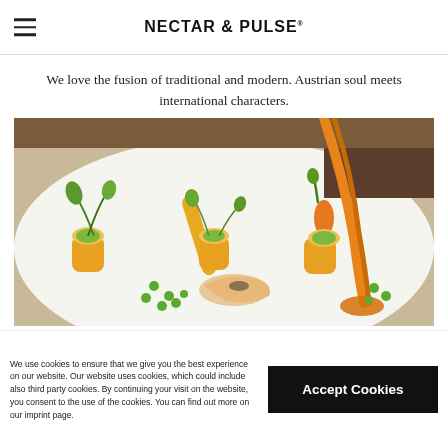NECTAR & PULSE
We love the fusion of traditional and modern. Austrian soul meets international characters.
[Figure (photo): Fine dining plate with elegant food presentation: shrimp, vegetable rolls filled with green puree, green peas, microgreens, and orange sauce being poured from above onto a white plate.]
We use cookies to ensure that we give you the best experience on our website. Our website uses cookies, which could include also third party cookies. By continuing your visit on the website, you consent to the use of the cookies. You can find out more on our imprint page.
Accept Cookies